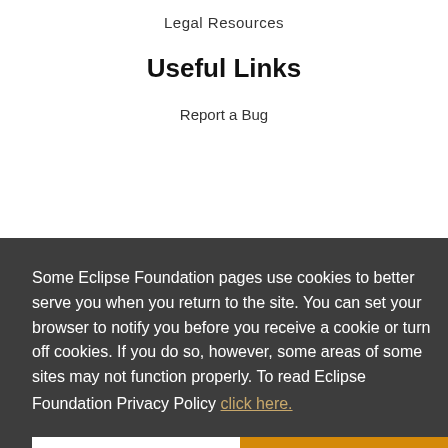Legal Resources
Useful Links
Report a Bug
Documentation
How to ...
Other
IDE and Tools
Working Groups
Research@Eclipse
Some Eclipse Foundation pages use cookies to better serve you when you return to the site. You can set your browser to notify you before you receive a cookie or turn off cookies. If you do so, however, some areas of some sites may not function properly. To read Eclipse Foundation Privacy Policy click here.